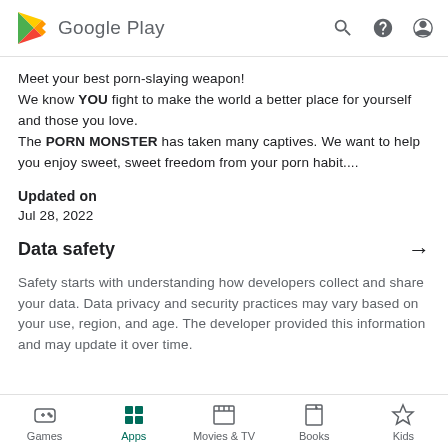Google Play
Meet your best porn-slaying weapon! We know YOU fight to make the world a better place for yourself and those you love. The PORN MONSTER has taken many captives. We want to help you enjoy sweet, sweet freedom from your porn habit....
Updated on
Jul 28, 2022
Data safety
Safety starts with understanding how developers collect and share your data. Data privacy and security practices may vary based on your use, region, and age. The developer provided this information and may update it over time.
Games  Apps  Movies & TV  Books  Kids